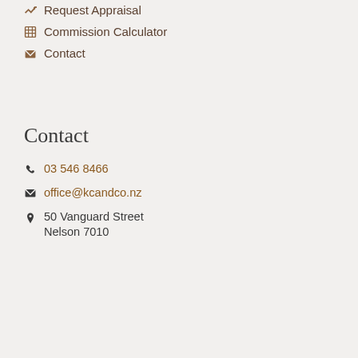Request Appraisal
Commission Calculator
Contact
Contact
03 546 8466
office@kcandco.nz
50 Vanguard Street
Nelson 7010